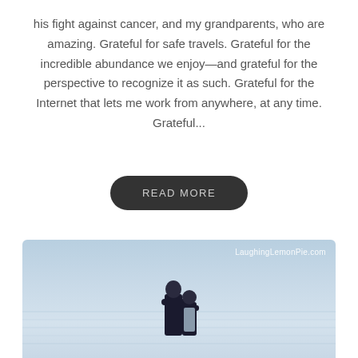his fight against cancer, and my grandparents, who are amazing. Grateful for safe travels. Grateful for the incredible abundance we enjoy—and grateful for the perspective to recognize it as such. Grateful for the Internet that lets me work from anywhere, at any time. Grateful...
READ MORE
[Figure (photo): Two people seen from behind standing together, looking out at a calm body of water under a light blue sky. Watermark reads LaughingLemonPie.com in the upper right corner.]